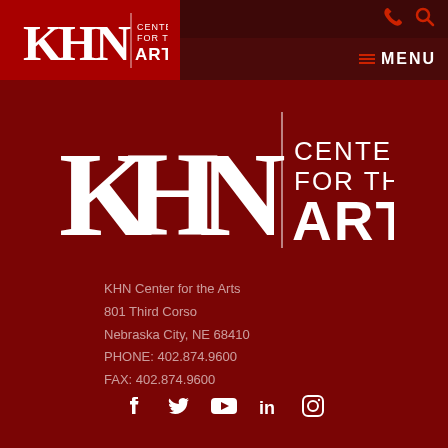[Figure (logo): KHN Center for the Arts logo in red header bar with phone and search icons and MENU button]
[Figure (logo): Large KHN Center for the Arts logo centered on dark red background]
KHN Center for the Arts
801 Third Corso
Nebraska City, NE 68410
PHONE: 402.874.9600
FAX: 402.874.9600
[Figure (other): Social media icons: Facebook, Twitter, YouTube, LinkedIn, Instagram]